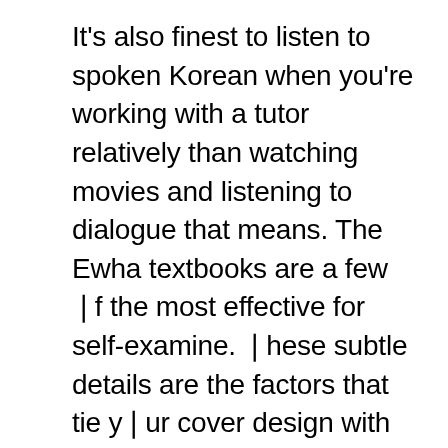It's also finest to listen to spoken Korean when you're working with a tutor relatively than watching movies and listening to dialogue that means. The Ewha textbooks are a few of the most effective for self-examine. These subtle details are the factors that tie your cover design with your eBook's genre or niche. Go through the checklist of blogs in the class to get some niche ideas. Additionally it is an important technique to assist these that have hassle studying. It implies that the identical that that your common Joe can carry with him 1000's of books at a time, and that they can buy them immediately and without having to pay half the cost they might have carried out for laborious copy info. You simply can't break down the dialog you simply heard in the